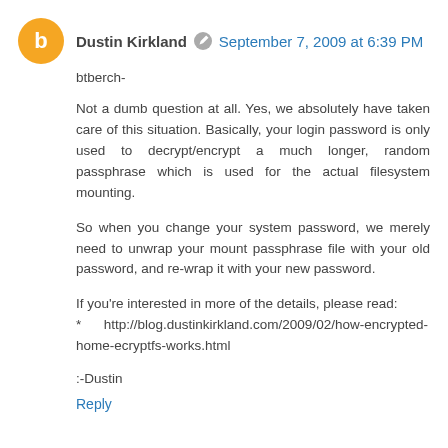Dustin Kirkland   September 7, 2009 at 6:39 PM
btberch-
Not a dumb question at all. Yes, we absolutely have taken care of this situation. Basically, your login password is only used to decrypt/encrypt a much longer, random passphrase which is used for the actual filesystem mounting.
So when you change your system password, we merely need to unwrap your mount passphrase file with your old password, and re-wrap it with your new password.
If you're interested in more of the details, please read:
* http://blog.dustinkirkland.com/2009/02/how-encrypted-home-ecryptfs-works.html
:-Dustin
Reply